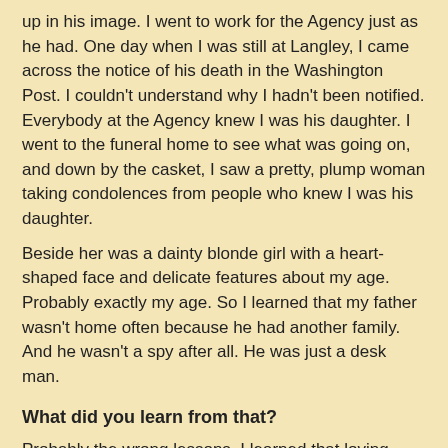up in his image. I went to work for the Agency just as he had. One day when I was still at Langley, I came across the notice of his death in the Washington Post. I couldn't understand why I hadn't been notified. Everybody at the Agency knew I was his daughter. I went to the funeral home to see what was going on, and down by the casket, I saw a pretty, plump woman taking condolences from people who knew I was his daughter.
Beside her was a dainty blonde girl with a heart-shaped face and delicate features about my age. Probably exactly my age. So I learned that my father wasn't home often because he had another family. And he wasn't a spy after all. He was just a desk man.
What did you learn from that?
Probably the wrong lessons. I learned that loving somebody will break your heart. And I learned not to trust men. This has not been useful in my relationships with members of the opposite sex. I also don't much like blondes.
Understandable. Tell us about your best friend.